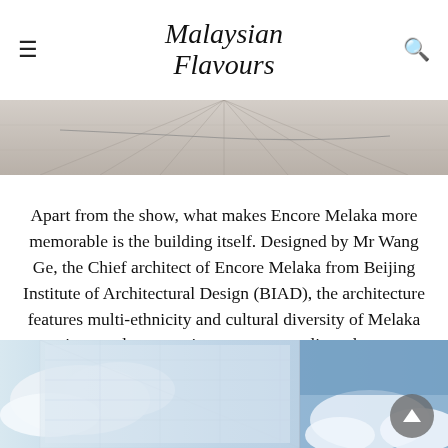Malaysian Flavours
[Figure (photo): A close-up photo of a tiled or concrete surface with diagonal lines, light grey tones, used as a decorative top image strip.]
Apart from the show, what makes Encore Melaka more memorable is the building itself. Designed by Mr Wang Ge, the Chief architect of Encore Melaka from Beijing Institute of Architectural Design (BIAD), the architecture features multi-ethnicity and cultural diversity of Melaka in a modern, creative way, uncomplicated yet sophisticated.
[Figure (photo): A photo of the Encore Melaka building exterior against a blue sky with clouds, showing a modern architectural facade split into two panels.]